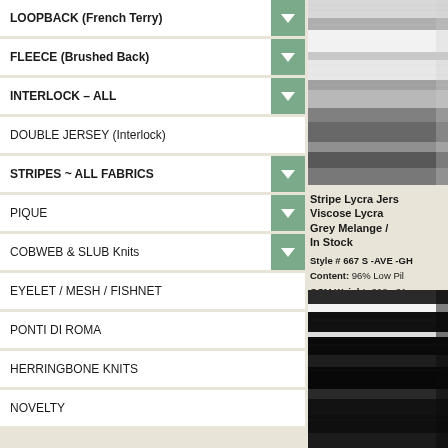LOOPBACK (French Terry)
FLEECE (Brushed Back)
INTERLOCK – ALL
DOUBLE JERSEY (Interlock)
STRIPES ~ ALL FABRICS
PIQUE
COBWEB & SLUB Knits
EYELET / MESH / FISHNET
PONTI DI ROMA
HERRINGBONE KNITS
NOVELTY
[Figure (photo): Grey striped fabric swatch showing melange texture]
Stripe Lycra Jersey Viscose Lycra Grey Melange / In Stock
Style # 667 S -AVE -GH
Content: 96% Low Pil
GSM Weight: 200 - 21
[Figure (photo): Dark/black fabric swatch with white stripe]